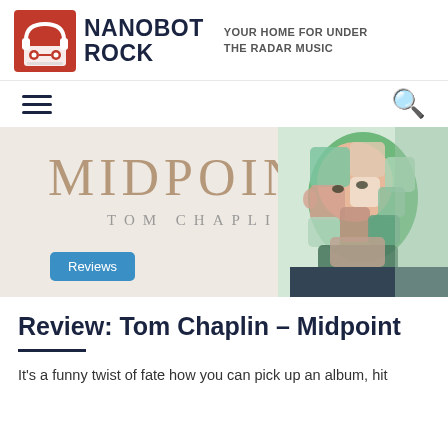NANOBOT ROCK — YOUR HOME FOR UNDER THE RADAR MUSIC
[Figure (logo): Nanobot Rock logo: red cassette tape icon with headphones, next to bold dark blue text NANOBOT ROCK, with tagline YOUR HOME FOR UNDER THE RADAR MUSIC]
[Figure (illustration): Album art for Tom Chaplin - Midpoint: beige background with MIDPOINT in large serif text and TOM CHAPLIN below, with an illustrated colorful portrait of a man on the right side]
Reviews
Review: Tom Chaplin – Midpoint
It's a funny twist of fate how you can pick up an album, hit